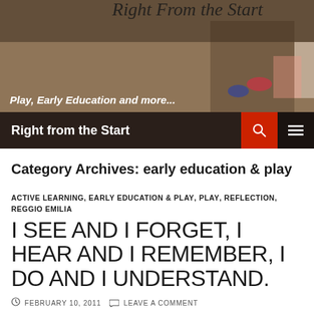[Figure (photo): Blog header photo showing a child playing on a wooden floor with colorful paper/card constructions. Text overlay reads 'Right From the Start' in italic script. Tagline 'Play, Early Education and more...' appears at bottom left.]
Right from the Start
Category Archives: early education & play
ACTIVE LEARNING, EARLY EDUCATION & PLAY, PLAY, REFLECTION, REGGIO EMILIA
I SEE AND I FORGET, I HEAR AND I REMEMBER, I DO AND I UNDERSTAND.
FEBRUARY 10, 2011   LEAVE A COMMENT